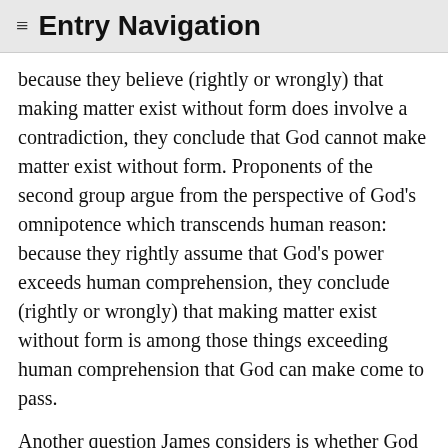≡ Entry Navigation
because they believe (rightly or wrongly) that making matter exist without form does involve a contradiction, they conclude that God cannot make matter exist without form. Proponents of the second group argue from the perspective of God's omnipotence which transcends human reason: because they rightly assume that God's power exceeds human comprehension, they conclude (rightly or wrongly) that making matter exist without form is among those things exceeding human comprehension that God can make come to pass.
Another question James considers is whether God can make an accident subsist without a subject or substrate. The question arises only with respect to what he calls “absolute accidents,” namely quantity and quality, as opposed to relational accidents—the remaining categories of accident. God clearly cannot make relational accidents exist without a subject in which they inhere, for this would entail a contradiction. This is so because relations for James, as we will see in section 3.3 below, are modes, not things. What about absolute accidents? As a Catholic